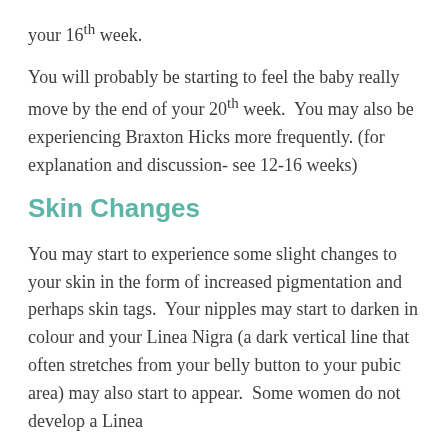your 16th week.
You will probably be starting to feel the baby really move by the end of your 20th week. You may also be experiencing Braxton Hicks more frequently. (for explanation and discussion- see 12-16 weeks)
Skin Changes
You may start to experience some slight changes to your skin in the form of increased pigmentation and perhaps skin tags. Your nipples may start to darken in colour and your Linea Nigra (a dark vertical line that often stretches from your belly button to your pubic area) may also start to appear. Some women do not develop a Linea